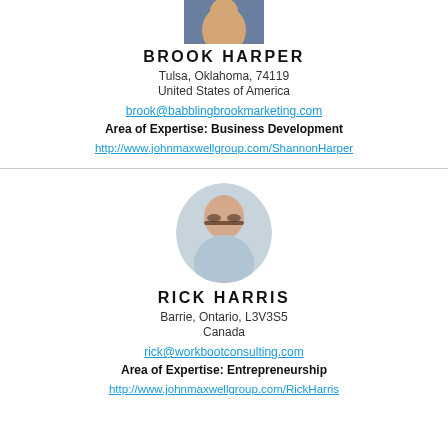[Figure (photo): Partial photo of Brook Harper at top of card]
BROOK HARPER
Tulsa, Oklahoma, 74119
United States of America
brook@babblingbrookmarketing.com
Area of Expertise: Business Development
http://www.johnmaxwellgroup.com/ShannonHarper
[Figure (photo): Headshot photo of Rick Harris, man with glasses]
RICK HARRIS
Barrie, Ontario, L3V3S5
Canada
rick@workbootconsulting.com
Area of Expertise: Entrepreneurship
http://www.johnmaxwellgroup.com/RickHarris